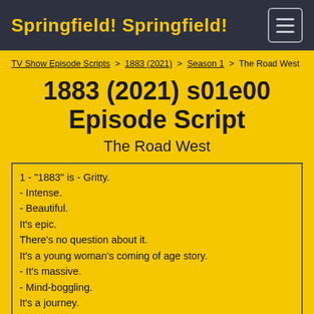Springfield! Springfield!
TV Show Episode Scripts > 1883 (2021) > Season 1 > The Road West
1883 (2021) s01e00 Episode Script
The Road West
1 - "1883" is - Gritty.
- Intense.
- Beautiful.
It's epic.
There's no question about it.
It's a young woman's coming of age story.
- It's massive.
- Mind-boggling.
It's a journey.